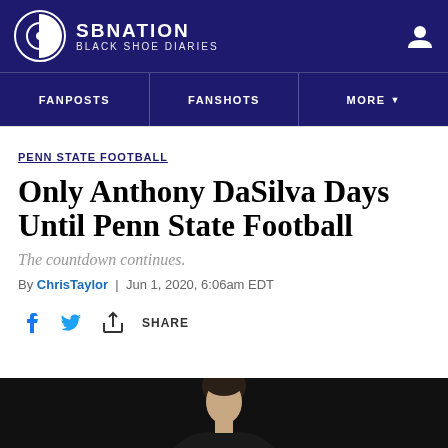SBNATION BLACK SHOE DIARIES
FANPOSTS | FANSHOTS | MORE
PENN STATE FOOTBALL
Only Anthony DaSilva Days Until Penn State Football
The countdown continues.
By ChrisTaylor | Jun 1, 2020, 6:06am EDT
[Figure (photo): Bottom strip showing a partial photo of a person with dark hair against a black background]